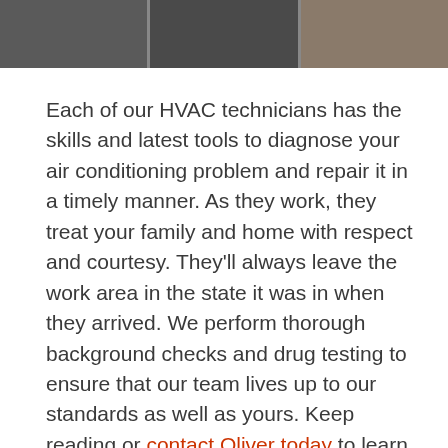[Figure (photo): Partial view of people outdoors near a building, shown as a cropped photo strip at the top of the page.]
Each of our HVAC technicians has the skills and latest tools to diagnose your air conditioning problem and repair it in a timely manner. As they work, they treat your family and home with respect and courtesy. They'll always leave the work area in the state it was in when they arrived. We perform thorough background checks and drug testing to ensure that our team lives up to our standards as well as yours. Keep reading or contact Oliver today to learn more about our air conditioning services.